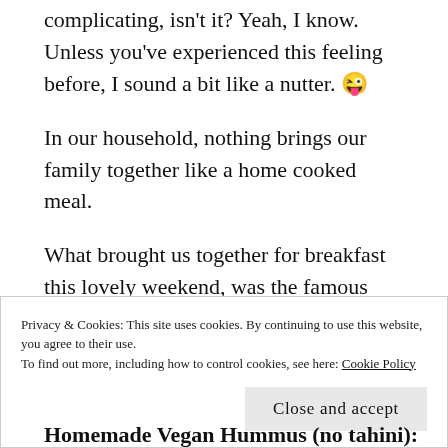complicating, isn't it? Yeah, I know. Unless you've experienced this feeling before, I sound a bit like a nutter. 😜
In our household, nothing brings our family together like a home cooked meal.
What brought us together for breakfast this lovely weekend, was the famous hummus that all of us are very fond of, but I usually have to stay away because I cannot eat tahini paste and garlic
Privacy & Cookies: This site uses cookies. By continuing to use this website, you agree to their use.
To find out more, including how to control cookies, see here: Cookie Policy
Homemade Vegan Hummus (no tahini):